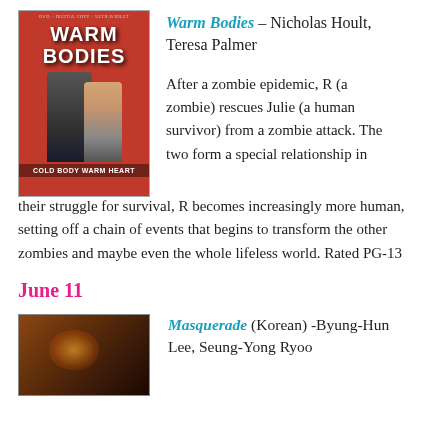[Figure (photo): Movie cover for Warm Bodies - red background with two figures facing each other, title 'WARM BODIES' at top, tagline 'COLD BODY WARM HEART' at bottom]
Warm Bodies – Nicholas Hoult, Teresa Palmer
After a zombie epidemic, R (a zombie) rescues Julie (a human survivor) from a zombie attack. The two form a special relationship in their struggle for survival, R becomes increasingly more human, setting off a chain of events that begins to transform the other zombies and maybe even the whole lifeless world. Rated PG-13
June 11
[Figure (photo): Movie cover for Masquerade - dark background with warm orange/fire glow]
Masquerade (Korean) -Byung-Hun Lee, Seung-Yong Ryoo